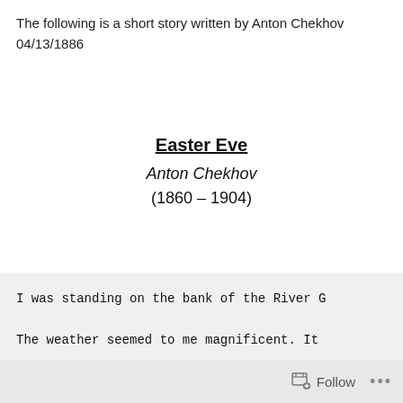The following is a short story written by Anton Chekhov
04/13/1886
Easter Eve
Anton Chekhov
(1860 – 1904)
I was standing on the bank of the River G
The weather seemed to me magnificent. It
A couple of paces from me I saw the dark
"How long the ferry-boat is in coming!" I
Follow  ...